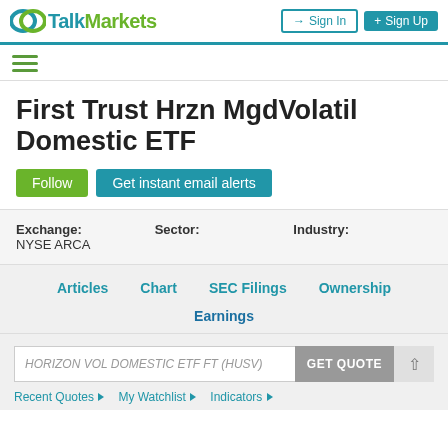TalkMarkets — Sign In | Sign Up
First Trust Hrzn MgdVolatil Domestic ETF
Follow | Get instant email alerts
Exchange: NYSE ARCA  Sector:  Industry:
Articles  Chart  SEC Filings  Ownership  Earnings
HORIZON VOL DOMESTIC ETF FT (HUSV)  GET QUOTE
Recent Quotes ▶  My Watchlist ▶  Indicators ▶